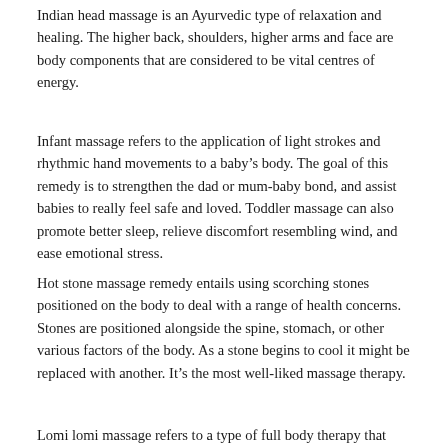Indian head massage is an Ayurvedic type of relaxation and healing. The higher back, shoulders, higher arms and face are body components that are considered to be vital centres of energy.
Infant massage refers to the application of light strokes and rhythmic hand movements to a baby's body. The goal of this remedy is to strengthen the dad or mum-baby bond, and assist babies to really feel safe and loved. Toddler massage can also promote better sleep, relieve discomfort resembling wind, and ease emotional stress.
Hot stone massage remedy entails using scorching stones positioned on the body to deal with a range of health concerns. Stones are positioned alongside the spine, stomach, or other various factors of the body. As a stone begins to cool it might be replaced with another. It's the most well-liked massage therapy.
Lomi lomi massage refers to a type of full body therapy that promotes rest whilst treating muscle pain and tension. A lomi...